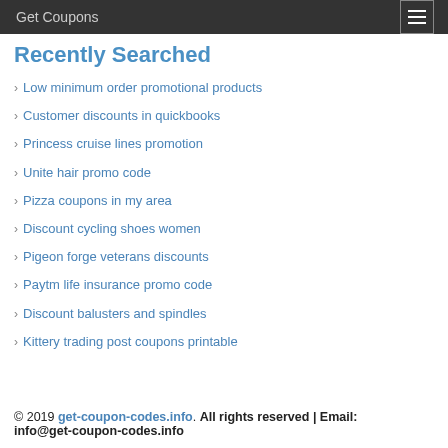Get Coupons
Recently Searched
Low minimum order promotional products
Customer discounts in quickbooks
Princess cruise lines promotion
Unite hair promo code
Pizza coupons in my area
Discount cycling shoes women
Pigeon forge veterans discounts
Paytm life insurance promo code
Discount balusters and spindles
Kittery trading post coupons printable
© 2019 get-coupon-codes.info. All rights reserved | Email: info@get-coupon-codes.info